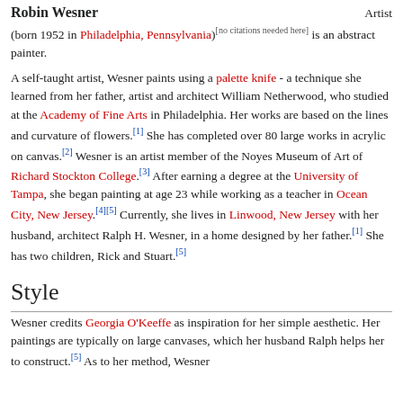Robin Wesner | Artist
(born 1952 in Philadelphia, Pennsylvania)[no citations needed here] is an abstract painter.
A self-taught artist, Wesner paints using a palette knife - a technique she learned from her father, artist and architect William Netherwood, who studied at the Academy of Fine Arts in Philadelphia. Her works are based on the lines and curvature of flowers.[1] She has completed over 80 large works in acrylic on canvas.[2] Wesner is an artist member of the Noyes Museum of Art of Richard Stockton College.[3] After earning a degree at the University of Tampa, she began painting at age 23 while working as a teacher in Ocean City, New Jersey.[4][5] Currently, she lives in Linwood, New Jersey with her husband, architect Ralph H. Wesner, in a home designed by her father.[1] She has two children, Rick and Stuart.[5]
Style
Wesner credits Georgia O'Keeffe as inspiration for her simple aesthetic. Her paintings are typically on large canvases, which her husband Ralph helps her to construct.[5] As to her method, Wesner